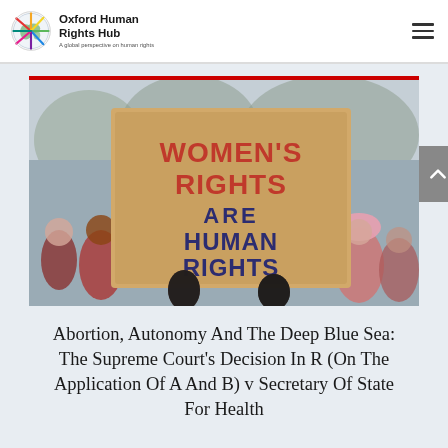Oxford Human Rights Hub — A global perspective on human rights
[Figure (photo): Protest photo showing a person holding a cardboard sign reading 'WOMEN'S RIGHTS ARE HUMAN RIGHTS' in large painted letters, with a crowd of people in winter clothing visible in the background.]
Abortion, Autonomy And The Deep Blue Sea: The Supreme Court's Decision In R (On The Application Of A And B) v Secretary Of State For Health